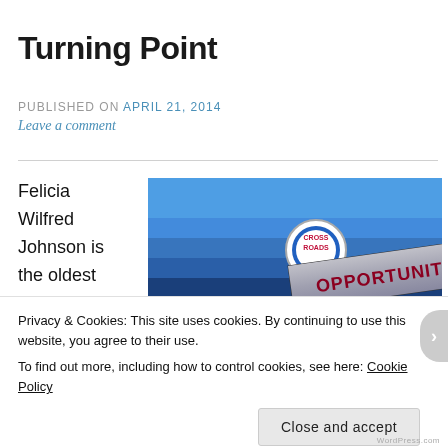Turning Point
PUBLISHED ON April 21, 2014
Leave a comment
Felicia Wilfred Johnson is the oldest
[Figure (photo): Crossroads street sign showing signs pointing in different directions: CROSSROADS in center, OPPORTUNITIES and HAPPINESS (HAPP-) on arrow signs, against a blue sky]
Privacy & Cookies: This site uses cookies. By continuing to use this website, you agree to their use.
To find out more, including how to control cookies, see here: Cookie Policy
Close and accept